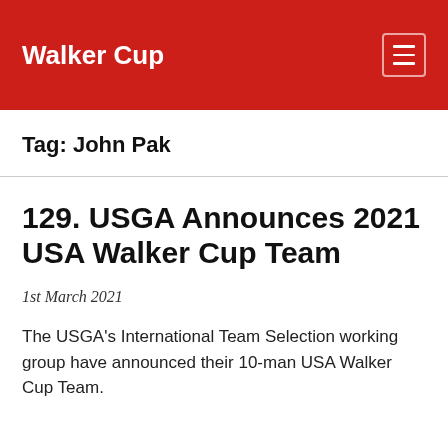Walker Cup
Tag: John Pak
129. USGA Announces 2021 USA Walker Cup Team
1st March 2021
The USGA's International Team Selection working group have announced their 10-man USA Walker Cup Team.